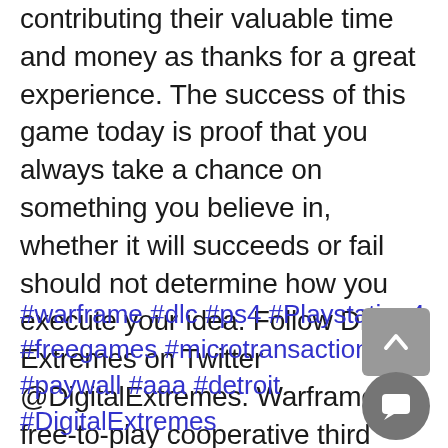contributing their valuable time and money as thanks for a great experience. The success of this game today is proof that you always take a chance on something you believe in, whether it will succeeds or fail should not determine how you execute your idea. Follow Digital Extremes on Twitter @DigitalExtremes. Warframe is a free-to-play cooperative third person shooter video game, available on Microsoft Windows, PlayStation 4 and Xbox One with a Nintendo Switch version in development.
#warframe #dlc #ps4 #Playstation4 #freegames #microtransactions #paywall #aaa #detroit #DigitalExtremes